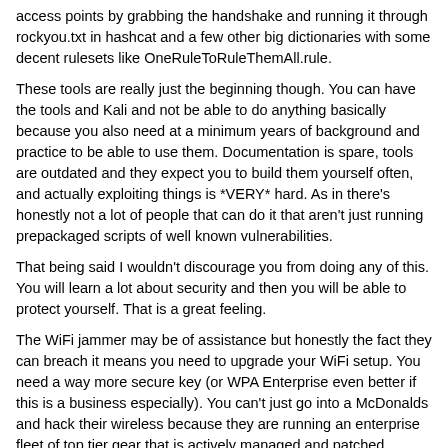access points by grabbing the handshake and running it through rockyou.txt in hashcat and a few other big dictionaries with some decent rulesets like OneRuleToRuleThemAll.rule.
These tools are really just the beginning though. You can have the tools and Kali and not be able to do anything basically because you also need at a minimum years of background and practice to be able to use them. Documentation is spare, tools are outdated and they expect you to build them yourself often, and actually exploiting things is *VERY* hard. As in there's honestly not a lot of people that can do it that aren't just running prepackaged scripts of well known vulnerabilities.
That being said I wouldn't discourage you from doing any of this. You will learn a lot about security and then you will be able to protect yourself. That is a great feeling.
The WiFi jammer may be of assistance but honestly the fact they can breach it means you need to upgrade your WiFi setup. You need a way more secure key (or WPA Enterprise even better if this is a business especially). You can't just go into a McDonalds and hack their wireless because they are running an enterprise fleet of top tier gear that is actively managed and patched. Someone figured out though that your point is probably a few years older, maybe a few years too old, and had a password they were able to get either with a basic cracker.